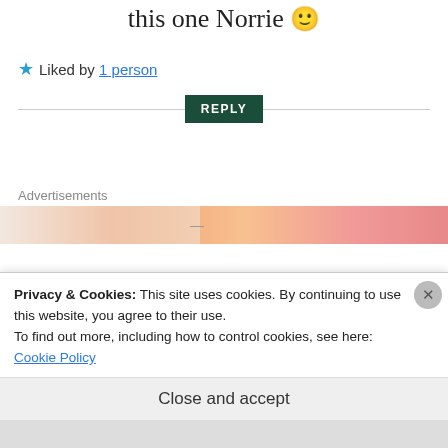this one Norrie 🙂
★ Liked by 1 person
REPLY
Advertisements
[Figure (other): Orange/peach gradient advertisement banner]
[Figure (illustration): Dark circular avatar with teal document/notepad icon]
Sheree @ Keeping
Privacy & Cookies: This site uses cookies. By continuing to use this website, you agree to their use.
To find out more, including how to control cookies, see here: Cookie Policy
Close and accept